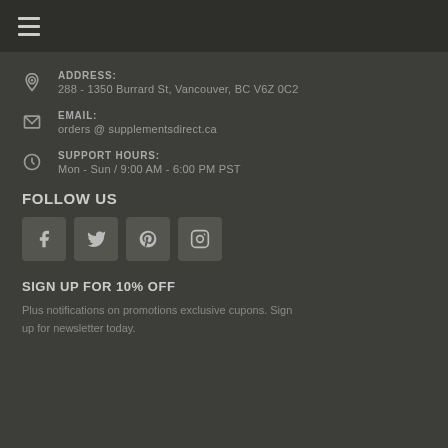Menu (hamburger icon)
ADDRESS:
288 - 1350 Burrard St, Vancouver, BC V6Z 0C2
EMAIL:
orders @ supplementsdirect.ca
SUPPORT HOURS:
Mon - Sun / 9:00 AM - 6:00 PM PST
FOLLOW US
[Figure (other): Social media icon buttons: Facebook, Twitter, Pinterest, Instagram]
SIGN UP FOR 10% OFF
Plus notifications on promotions exclusive cupons. Sign up for newsletter today.